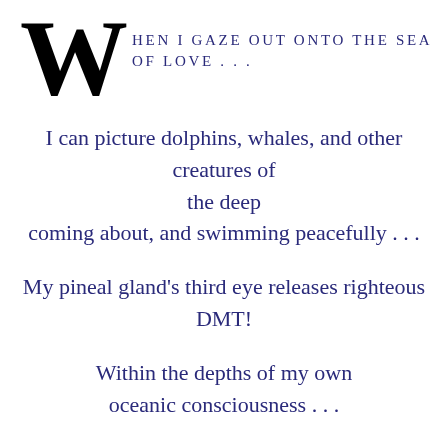When I gaze out onto the sea of love . . .
I can picture dolphins, whales, and other creatures of the deep coming about, and swimming peacefully . . .
My pineal gland's third eye releases righteous DMT!
Within the depths of my own oceanic consciousness . . .
In these changing tides, may we scuba dive into mysterious whirlpools of femininity